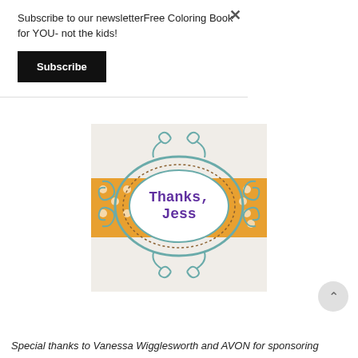Subscribe to our newsletterFree Coloring Book for YOU- not the kids!
Subscribe
[Figure (illustration): Decorative thank-you card with 'Thanks, Jess' text inside an oval frame with swirly ornamental border on an orange polka-dot background]
a Rafflecopter giveaway
Special thanks to Vanessa Wigglesworth and AVON for sponsoring